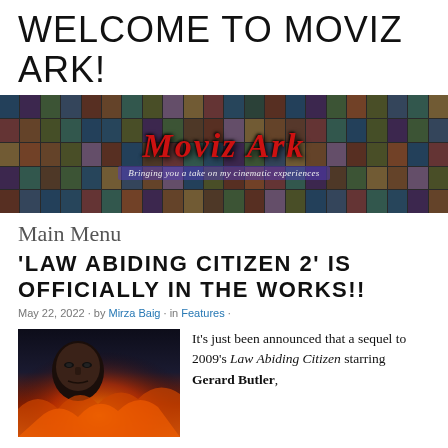WELCOME TO MOVIZ ARK!
[Figure (illustration): Moviz Ark website banner — a mosaic collage of movie stills with 'Moviz Ark' in large red italic text overlaid, and tagline 'Bringing you a take on my cinematic experiences']
Main Menu
'LAW ABIDING CITIZEN 2' IS OFFICIALLY IN THE WORKS!!
May 22, 2022 · by Mirza Baig · in Features ·
[Figure (photo): Movie poster for Law Abiding Citizen showing a close-up of a man's face with fire/flames in background, text 'THE ONLY LAW' at bottom]
It's just been announced that a sequel to 2009's Law Abiding Citizen starring Gerard Butler,